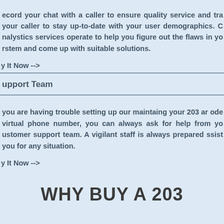ecord your chat with a caller to ensure quality service and track your caller to stay up-to-date with your user demographics. Ca analystics services operate to help you figure out the flaws in your system and come up with suitable solutions.
y It Now -->
upport Team
you are having trouble setting up our maintaing your 203 area code virtual phone number, you can always ask for help from your customer support team. A vigilant staff is always prepared to assist you for any situation.
y It Now -->
WHY BUY A 203